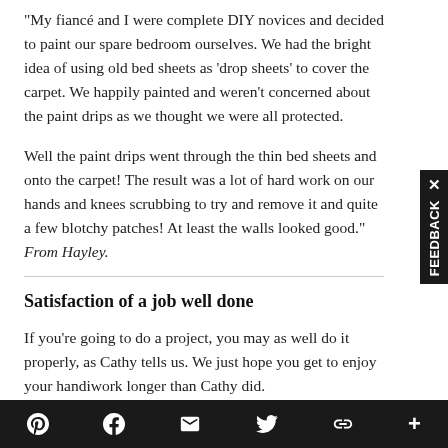“My fiancé and I were complete DIY novices and decided to paint our spare bedroom ourselves. We had the bright idea of using old bed sheets as ‘drop sheets’ to cover the carpet. We happily painted and weren’t concerned about the paint drips as we thought we were all protected.
Well the paint drips went through the thin bed sheets and onto the carpet! The result was a lot of hard work on our hands and knees scrubbing to try and remove it and quite a few blotchy patches! At least the walls looked good.” From Hayley.
Satisfaction of a job well done
If you’re going to do a project, you may as well do it properly, as Cathy tells us. We just hope you get to enjoy your handiwork longer than Cathy did.
Social share toolbar: Pinterest, Facebook, Email, Twitter, Link, More